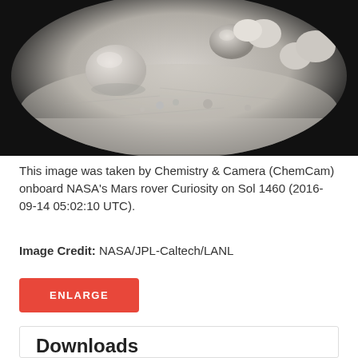[Figure (photo): Black and white circular fisheye image of the Martian surface taken by ChemCam onboard NASA's Mars rover Curiosity. Shows rocky terrain with several rounded rocks and boulders visible on a sandy/dusty Martian surface.]
This image was taken by Chemistry & Camera (ChemCam) onboard NASA's Mars rover Curiosity on Sol 1460 (2016-09-14 05:02:10 UTC).
Image Credit: NASA/JPL-Caltech/LANL
ENLARGE
Downloads